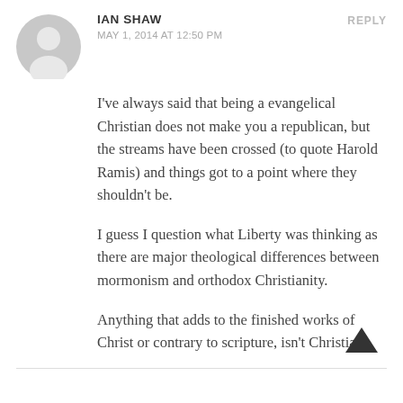[Figure (illustration): Gray circular avatar silhouette of a generic user profile icon]
IAN SHAW
MAY 1, 2014 AT 12:50 PM
REPLY
I've always said that being a evangelical Christian does not make you a republican, but the streams have been crossed (to quote Harold Ramis) and things got to a point where they shouldn't be.
I guess I question what Liberty was thinking as there are major theological differences between mormonism and orthodox Christianity.
Anything that adds to the finished works of Christ or contrary to scripture, isn't Christian.